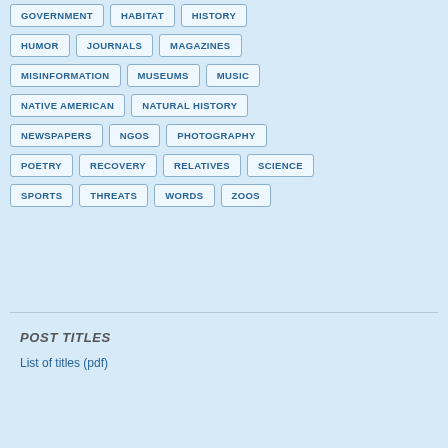GOVERNMENT
HABITAT
HISTORY
HUMOR
JOURNALS
MAGAZINES
MISINFORMATION
MUSEUMS
MUSIC
NATIVE AMERICAN
NATURAL HISTORY
NEWSPAPERS
NGOS
PHOTOGRAPHY
POETRY
RECOVERY
RELATIVES
SCIENCE
SPORTS
THREATS
WORDS
ZOOS
POST TITLES
List of titles (pdf)